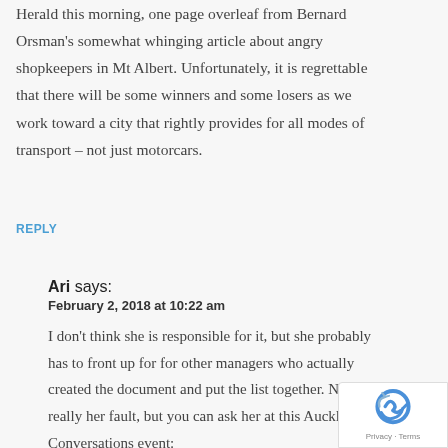Herald this morning, one page overleaf from Bernard Orsman's somewhat whinging article about angry shopkeepers in Mt Albert. Unfortunately, it is regrettable that there will be some winners and some losers as we work toward a city that rightly provides for all modes of transport – not just motorcars.
REPLY
Ari says:
February 2, 2018 at 10:22 am
I don't think she is responsible for it, but she probably has to front up for for other managers who actually created the document and put the list together. Not really her fault, but you can ask her at this Auckland Conversations event: